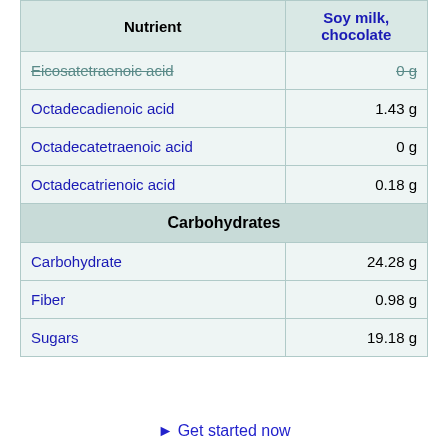| Nutrient | Soy milk, chocolate |
| --- | --- |
| Eicosatetraenoic acid | 0 g |
| Octadecadienoic acid | 1.43 g |
| Octadecatetraenoic acid | 0 g |
| Octadecatrienoic acid | 0.18 g |
| Carbohydrates |  |
| Carbohydrate | 24.28 g |
| Fiber | 0.98 g |
| Sugars | 19.18 g |
⮞ Get started now